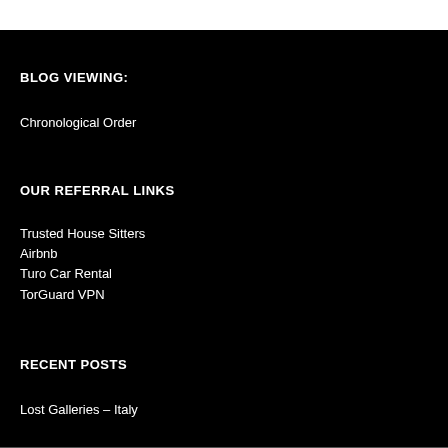BLOG VIEWING:
Chronological Order
OUR REFERRAL LINKS
Trusted House Sitters
Airbnb
Turo Car Rental
TorGuard VPN
RECENT POSTS
Lost Galleries – Italy